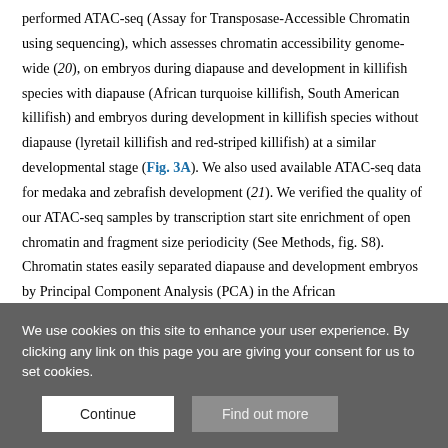performed ATAC-seq (Assay for Transposase-Accessible Chromatin using sequencing), which assesses chromatin accessibility genome-wide (20), on embryos during diapause and development in killifish species with diapause (African turquoise killifish, South American killifish) and embryos during development in killifish species without diapause (lyretail killifish and red-striped killifish) at a similar developmental stage (Fig. 3A). We also used available ATAC-seq data for medaka and zebrafish development (21). We verified the quality of our ATAC-seq samples by transcription start site enrichment of open chromatin and fragment size periodicity (See Methods, fig. S8). Chromatin states easily separated diapause and development embryos by Principal Component Analysis (PCA) in the African
We use cookies on this site to enhance your user experience. By clicking any link on this page you are giving your consent for us to set cookies.